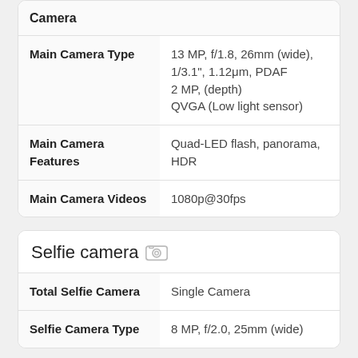| Feature | Value |
| --- | --- |
| Camera |  |
| Main Camera Type | 13 MP, f/1.8, 26mm (wide), 1/3.1", 1.12μm, PDAF
2 MP, (depth)
QVGA (Low light sensor) |
| Main Camera Features | Quad-LED flash, panorama, HDR |
| Main Camera Videos | 1080p@30fps |
Selfie camera
| Feature | Value |
| --- | --- |
| Total Selfie Camera | Single Camera |
| Selfie Camera Type | 8 MP, f/2.0, 25mm (wide) |